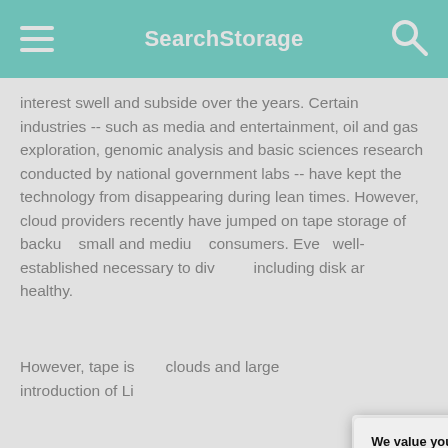SearchStorage
interest swell and subside over the years. Certain industries -- such as media and entertainment, oil and gas exploration, genomic analysis and basic sciences research conducted by national government labs -- have kept the technology from disappearing during lean times. However, cloud providers recently have jumped on tape storage of backup, small and medium consumers. Eve well-established necessary to div including disk ar healthy.
However, tape is clouds and large introduction of Li
We value your privacy.
TechTarget and its partners employ cookies to improve your experience on our site, to analyze traffic and performance, and to serve personalized content and advertising that are relevant to your professional interests. You can manage your settings at any time. Please view our Privacy Policy for more information